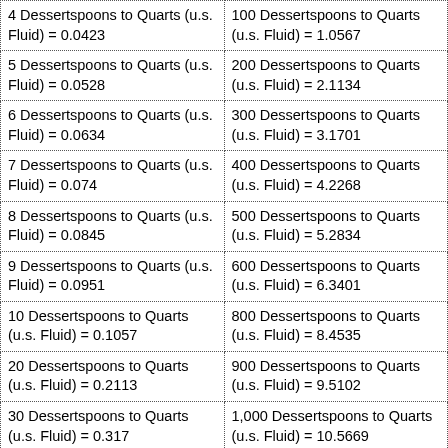| 4 Dessertspoons to Quarts (u.s. Fluid) = 0.0423 | 100 Dessertspoons to Quarts (u.s. Fluid) = 1.0567 |
| 5 Dessertspoons to Quarts (u.s. Fluid) = 0.0528 | 200 Dessertspoons to Quarts (u.s. Fluid) = 2.1134 |
| 6 Dessertspoons to Quarts (u.s. Fluid) = 0.0634 | 300 Dessertspoons to Quarts (u.s. Fluid) = 3.1701 |
| 7 Dessertspoons to Quarts (u.s. Fluid) = 0.074 | 400 Dessertspoons to Quarts (u.s. Fluid) = 4.2268 |
| 8 Dessertspoons to Quarts (u.s. Fluid) = 0.0845 | 500 Dessertspoons to Quarts (u.s. Fluid) = 5.2834 |
| 9 Dessertspoons to Quarts (u.s. Fluid) = 0.0951 | 600 Dessertspoons to Quarts (u.s. Fluid) = 6.3401 |
| 10 Dessertspoons to Quarts (u.s. Fluid) = 0.1057 | 800 Dessertspoons to Quarts (u.s. Fluid) = 8.4535 |
| 20 Dessertspoons to Quarts (u.s. Fluid) = 0.2113 | 900 Dessertspoons to Quarts (u.s. Fluid) = 9.5102 |
| 30 Dessertspoons to Quarts (u.s. Fluid) = 0.317 | 1,000 Dessertspoons to Quarts (u.s. Fluid) = 10.5669 |
| 40 Dessertspoons to Quarts (u.s. Fluid) = 0.4227 | 10,000 Dessertspoons to Quarts (u.s. Fluid) = 105.6688 |